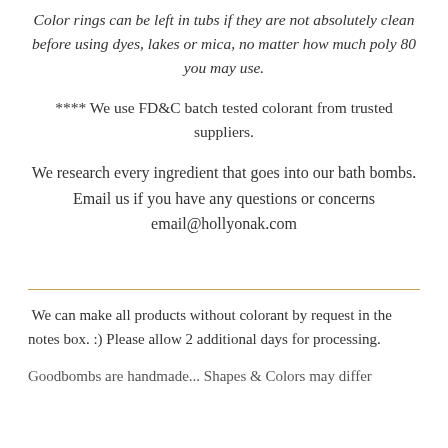Color rings can be left in tubs if they are not absolutely clean before using dyes, lakes or mica, no matter how much poly 80 you may use.
**** We use FD&C batch tested colorant from trusted suppliers.
We research every ingredient that goes into our bath bombs. Email us if you have any questions or concerns email@hollyonak.com
We can make all products without colorant by request in the notes box. :) Please allow 2 additional days for processing.
Goodbombs are handmade... Shapes & Colors may differ